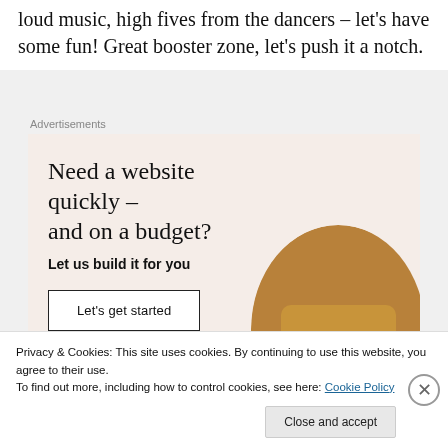loud music, high fives from the dancers – let's have some fun! Great booster zone, let's push it a notch.
[Figure (infographic): Advertisement banner with beige/cream background. Headline: 'Need a website quickly – and on a budget?' Subtext: 'Let us build it for you'. A button labeled 'Let's get started'. WordPress logo at bottom left. Circular cropped photo of person typing on laptop at bottom right.]
Privacy & Cookies: This site uses cookies. By continuing to use this website, you agree to their use.
To find out more, including how to control cookies, see here: Cookie Policy